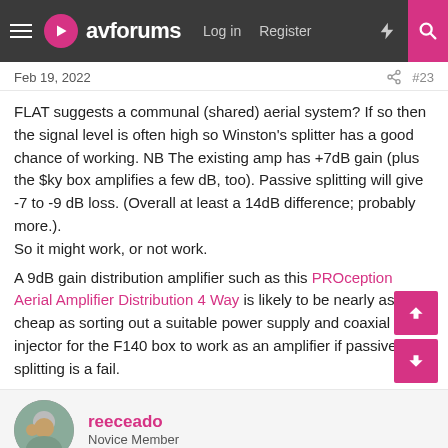avforums | Log in | Register
Feb 19, 2022  #23
FLAT suggests a communal (shared) aerial system? If so then the signal level is often high so Winston's splitter has a good chance of working. NB The existing amp has +7dB gain (plus the $ky box amplifies a few dB, too). Passive splitting will give -7 to -9 dB loss. (Overall at least a 14dB difference; probably more.).
So it might work, or not work.

A 9dB gain distribution amplifier such as this PROception Aerial Amplifier Distribution 4 Way is likely to be nearly as cheap as sorting out a suitable power supply and coaxial cable injector for the F140 box to work as an amplifier if passive splitting is a fail.
reeceado — Novice Member
Feb 19, 2022  #24